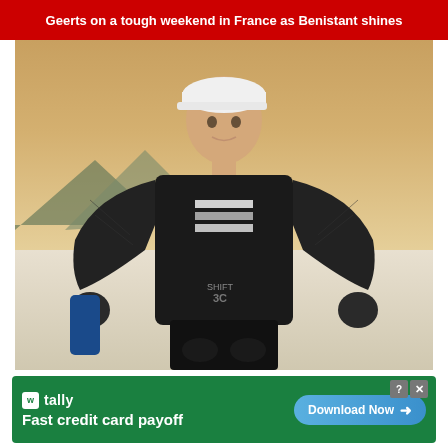Geerts on a tough weekend in France as Benistant shines
[Figure (photo): A young male motocross athlete wearing a black long-sleeve jersey with a stylized 'S' logo, black shorts with protective gear, and a white cap. He stands in front of a desert/salt flat landscape with mountains in the background under a golden sky.]
[Figure (screenshot): Advertisement for 'tally' app. Green background with white Tally logo and text 'Fast credit card payoff'. Blue gradient 'Download Now' button with arrow. Help and close buttons in top right.]